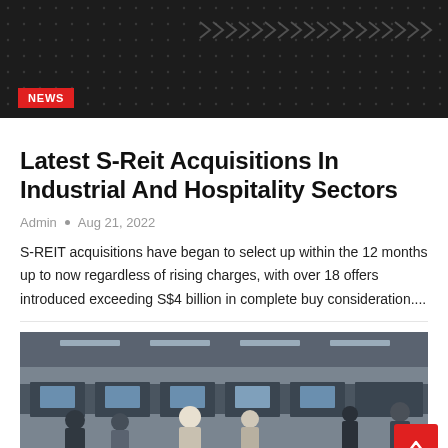[Figure (other): Dark banner header with dot grid pattern and chevron/arrow decorations in grey]
NEWS
Latest S-Reit Acquisitions In Industrial And Hospitality Sectors
Admin • Aug 21, 2022
S-REIT acquisitions have began to select up within the 12 months up to now regardless of rising charges, with over 18 offers introduced exceeding S$4 billion in complete buy consideration....
[Figure (photo): Airport terminal interior scene with passengers and check-in counters, people wearing masks]